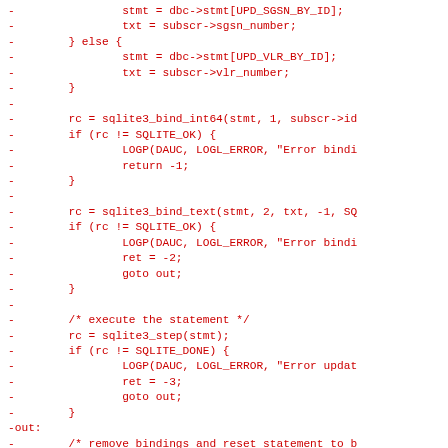[Figure (other): Code diff snippet in red monospace font showing removed lines (prefixed with -) from a C source file, including SQLite bind and step operations with error handling and goto out pattern.]